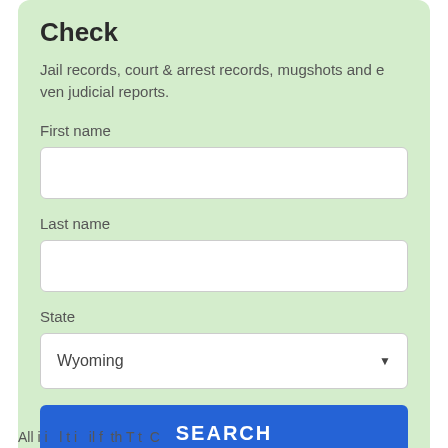Check
Jail records, court & arrest records, mugshots and even judicial reports.
First name
Last name
State
Wyoming
SEARCH
All i i l t i il f th T t C